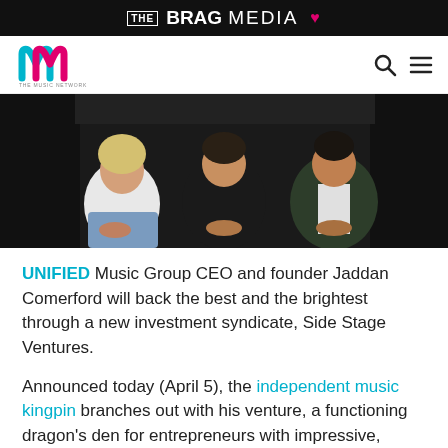THE BRAG MEDIA ♥
[Figure (logo): The Music Network logo — two overlapping letter M shapes in cyan and pink]
[Figure (photo): Three people sitting side by side with hands folded in their laps. Person on left wears white long-sleeve top and jeans, center person wears black, right person wears dark green jacket.]
UNIFIED Music Group CEO and founder Jaddan Comerford will back the best and the brightest through a new investment syndicate, Side Stage Ventures.
Announced today (April 5), the independent music kingpin branches out with his venture, a functioning dragon's den for entrepreneurs with impressive, creative pitches at the early stages of business building.